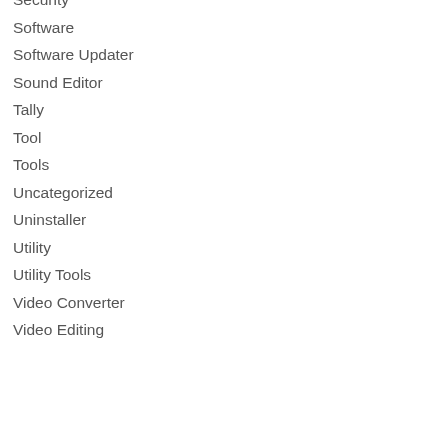Security
Software
Software Updater
Sound Editor
Tally
Tool
Tools
Uncategorized
Uninstaller
Utility
Utility Tools
Video Converter
Video Editing